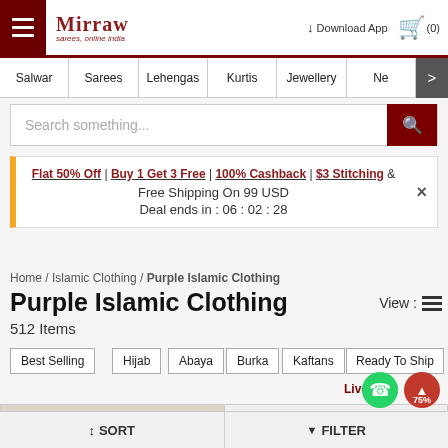Mirraw - sarees, online india | Download App | Cart (0)
Salwar | Sarees | Lehengas | Kurtis | Jewellery | Ne >
Search something...
Flat 50% Off | Buy 1 Get 3 Free | 100% Cashback | $3 Stitching & Free Shipping On 99 USD Deal ends in: 06 : 02 : 28
Home / Islamic Clothing / Purple Islamic Clothing
Purple Islamic Clothing
512 Items
Best Selling
Hijab
Abaya
Burka
Kaftans
Ready To Ship
Live Chat
[Figure (screenshot): Two product thumbnails showing clothing items with 74% and 75% discount badges]
SORT | FILTER